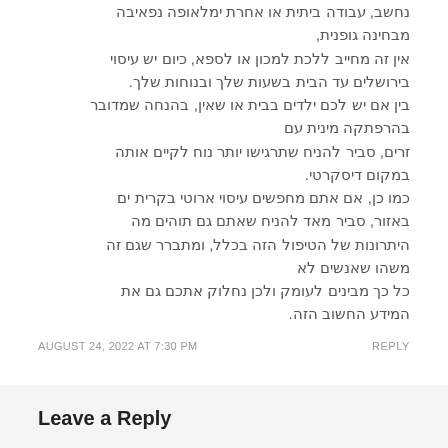נחשב, עבודה ביתית או אחרת ימלאופה נפאיבה מבחינה גופנית, אין זה מחייב ללכת למכון או לספא, כיום יש עיסוי בירושלים עד הבית בשעות שלך ובנוחות שלך. בין אם יש לכם ילדים בבית או שאין, בהנחה שמדובר בהרפתקה מינית עם זרים, סביר להניח שתרגישו יותר נוח לקיים אותה במקום דיסקרטי. כמו כן, אם אתם מחפשים עיסוי ארוטי בקרית ים באזור, סביר מאד להניח שאתם גם תוהים מה היתרונות של הטיפול הזה בכלל, ומתברר שגם זה משהו שאנשים לא כל כך מבינים לעומק ולכן נחלוק אתכם גם את המידע החשוב הזה.
AUGUST 24, 2022 AT 7:30 PM
Leave a Reply